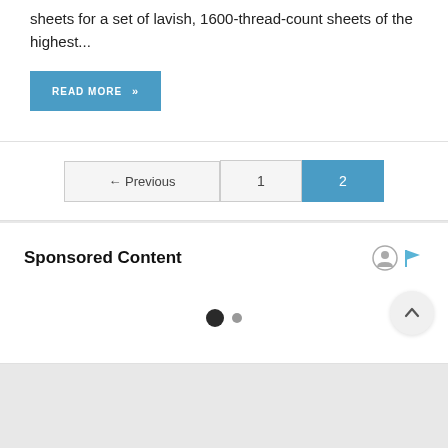sheets for a set of lavish, 1600-thread-count sheets of the highest...
READ MORE »
← Previous  1  2
Sponsored Content
[Figure (other): Pagination dots: one large filled circle and one small grey circle, indicating a two-slide carousel position. Also a scroll-to-top arrow button in the bottom right.]